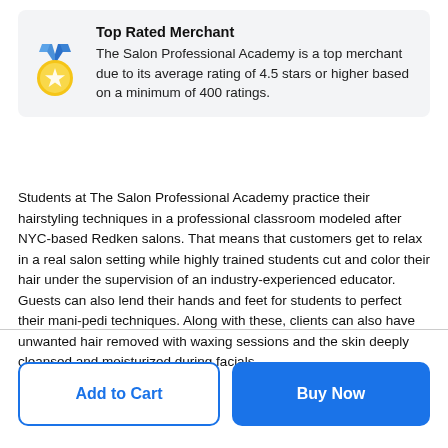[Figure (infographic): Top Rated Merchant box with a gold medal icon (blue ribbon, gold circle with star) and text explaining The Salon Professional Academy is a top merchant due to its average rating of 4.5 stars or higher based on a minimum of 400 ratings.]
Students at The Salon Professional Academy practice their hairstyling techniques in a professional classroom modeled after NYC-based Redken salons. That means that customers get to relax in a real salon setting while highly trained students cut and color their hair under the supervision of an industry-experienced educator. Guests can also lend their hands and feet for students to perfect their mani-pedi techniques. Along with these, clients can also have unwanted hair removed with waxing sessions and the skin deeply cleansed and moisturized during facials.
[Figure (other): Two call-to-action buttons: 'Add to Cart' (outlined blue) and 'Buy Now' (solid blue)]